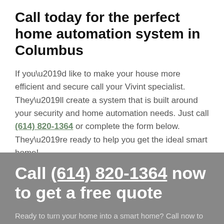Call today for the perfect home automation system in Columbus
If you’d like to make your house more efficient and secure call your Vivint specialist. They’ll create a system that is built around your security and home automation needs. Just call (614) 820-1364 or complete the form below. They’re ready to help you get the ideal smart home!
Call (614) 820-1364 now to get a free quote
Ready to turn your home into a smart home? Call now to get